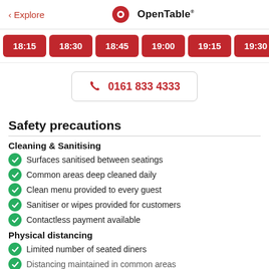< Explore    OpenTable
18:15  18:30  18:45  19:00  19:15  19:30  19:45
0161 833 4333
Safety precautions
Cleaning & Sanitising
Surfaces sanitised between seatings
Common areas deep cleaned daily
Clean menu provided to every guest
Sanitiser or wipes provided for customers
Contactless payment available
Physical distancing
Limited number of seated diners
Distancing maintained in common areas